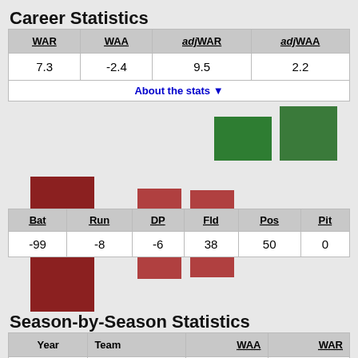Career Statistics
| WAR | WAA | adjWAR | adjWAA |
| --- | --- | --- | --- |
| 7.3 | -2.4 | 9.5 | 2.2 |
| About the stats ▼ |
[Figure (bar-chart): Career component bar chart]
| Bat | Run | DP | Fld | Pos | Pit |
| --- | --- | --- | --- | --- | --- |
| -99 | -8 | -6 | 38 | 50 | 0 |
Season-by-Season Statistics
| Year | Team | WAA | WAR |
| --- | --- | --- | --- |
| 2011 | MIL | 0.0 | 0.0 |
| 2012 | MIL | 0.8 | 1.6 |
| 2013 | MIL | -0.8 | -0.2 |
| 2014 | MIL | 0.4 | 0.8 |